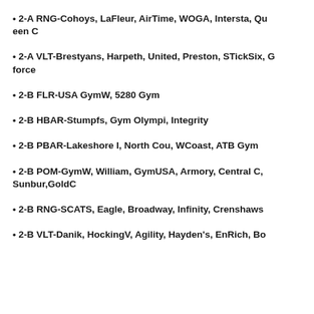• 2-A RNG-Cohoys, LaFleur, AirTime, WOGA, Intersta, Queen C
• 2-A VLT-Brestyans, Harpeth, United, Preston, STickSix, Gforce
• 2-B FLR-USA GymW, 5280 Gym
• 2-B HBAR-Stumpfs, Gym Olympi, Integrity
• 2-B PBAR-Lakeshore I, North Cou, WCoast, ATB Gym
• 2-B POM-GymW, William, GymUSA, Armory, Central C, Sunbur,GoldC
• 2-B RNG-SCATS, Eagle, Broadway, Infinity, Crenshaws
• 2-B VLT-Danik, HockingV, Agility, Hayden's, EnRich, Bo